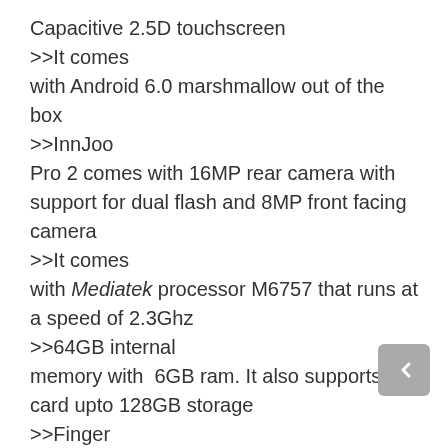Capacitive 2.5D touchscreen
>>It comes with Android 6.0 marshmallow out of the box
>>InnJoo Pro 2 comes with 16MP rear camera with support for dual flash and 8MP front facing camera
>>It comes with Mediatek processor M6757 that runs at a speed of 2.3Ghz
>>64GB internal memory with 6GB ram. It also supports SD card upto 128GB storage
>>Finger Print ID located at the home button
>>It is 4G LTE supported,
>>4000mAh battery capacity with USB type C
Key Specifications